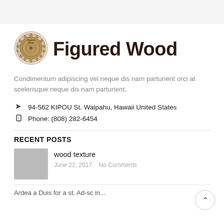[Figure (logo): Figured Wood circular saw blade logo with wood grain pattern and text 'Figured Wood']
Figured Wood
Condimentum adipiscing vel neque dis nam parturient orci at scelerisque neque dis nam parturient.
94-562 KIPOU St. Waipahu, Hawaii United States
Phone: (808) 282-6454
RECENT POSTS
wood texture
June 22, 2017  No Comments